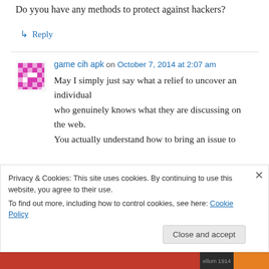Do yyou have any methods to protect against hackers?
↳ Reply
game cih apk on October 7, 2014 at 2:07 am
May I simply just say what a relief to uncover an individual who genuinely knows what they are discussing on the web. You actually understand how to bring an issue to
Privacy & Cookies: This site uses cookies. By continuing to use this website, you agree to their use. To find out more, including how to control cookies, see here: Cookie Policy
Close and accept